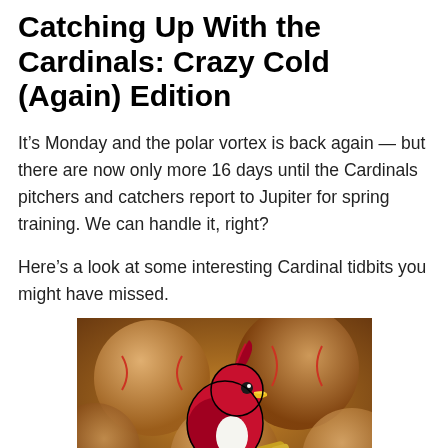Catching Up With the Cardinals: Crazy Cold (Again) Edition
It’s Monday and the polar vortex is back again — but there are now only more 16 days until the Cardinals pitchers and catchers report to Jupiter for spring training. We can handle it, right?
Here’s a look at some interesting Cardinal tidbits you might have missed.
[Figure (photo): St. Louis Cardinals logo (red cardinal bird perched on a yellow baseball bat) overlaid on a background of baseballs]